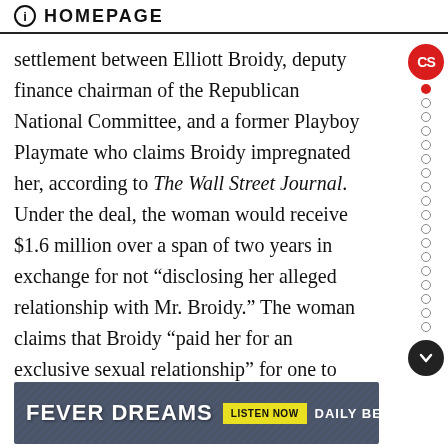HOMEPAGE
settlement between Elliott Broidy, deputy finance chairman of the Republican National Committee, and a former Playboy Playmate who claims Broidy impregnated her, according to The Wall Street Journal. Under the deal, the woman would receive $1.6 million over a span of two years in exchange for not “disclosing her alleged relationship with Mr. Broidy.” The woman claims that Broidy “paid her for an exclusive sexual relationship” for one to two years. “I acknowledge I had a consensual relationship with a Playboy Playmate,” Broidy said in a statement. “At the end of our relationship, this woman shared with me that she was pregnant. She alone decided that she did not want to contin... financ...
[Figure (other): Advertisement banner for 'Fever Dreams' podcast on The Daily Beast with a yellow 'LISTEN NOW' button]